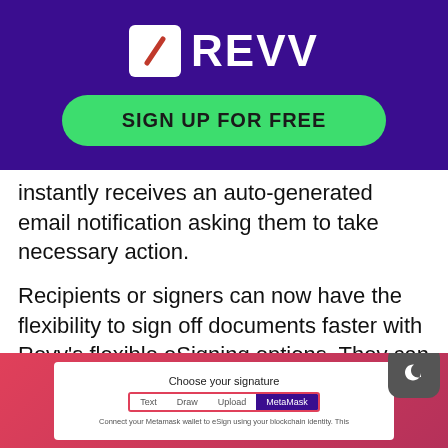[Figure (logo): REVV logo on purple banner with green Sign Up For Free button]
instantly receives an auto-generated email notification asking them to take necessary action.
Recipients or signers can now have the flexibility to sign off documents faster with Revv's flexible eSigning options. They can 'Draw signatures,' 'scan and upload signatures,' choose from 'pre-formatted text styles,' and even connect their crypto-wallet MetaMask to complete the signing process.
[Figure (screenshot): Screenshot showing 'Choose your signature' dialog with tabs: Text, Draw, Upload, MetaMask (active), with text 'Connect your Metamask wallet to eSign using your blockchain identity. This']